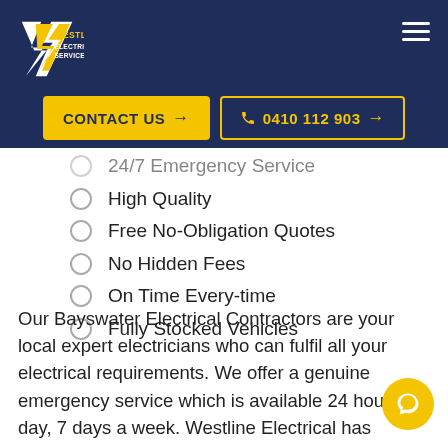[Figure (logo): Westline Electrical Services logo with yellow W bolt icon and text]
CONTACT US →
0410 112 903 →
24/7 Emergency Service
High Quality
Free No-Obligation Quotes
No Hidden Fees
On Time Every-time
Fully Stocked Vehicles
Our Bayswater Electrical Contractors are your local expert electricians who can fulfil all your electrical requirements. We offer a genuine emergency service which is available 24 hours a day, 7 days a week. Westline Electrical has served thousands of customers over the years, developing strong relationships and friendships with many homeowners and businesses.